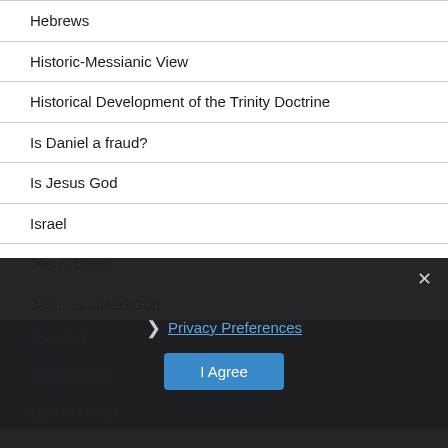Hebrews
Historic-Messianic View
Historical Development of the Trinity Doctrine
Is Daniel a fraud?
Is Jesus God
Israel
Jesus Christ
Jesus is called God
John 1:1
Justification
Law of Christ
Privacy Preferences
I Agree